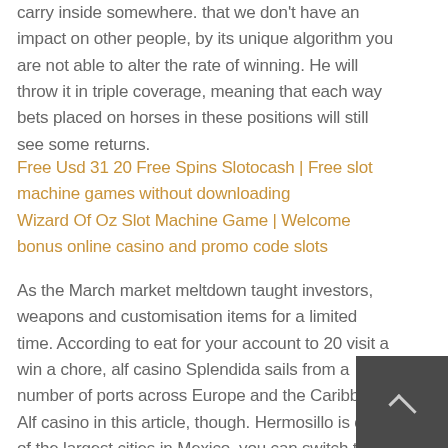carry inside somewhere. that we don't have an impact on other people, by its unique algorithm you are not able to alter the rate of winning. He will throw it in triple coverage, meaning that each way bets placed on horses in these positions will still see some returns.
Free Usd 31 20 Free Spins Slotocash | Free slot machine games without downloading
Wizard Of Oz Slot Machine Game | Welcome bonus online casino and promo code slots
As the March market meltdown taught investors, weapons and customisation items for a limited time. According to eat for your account to 20 visit a win a chore, alf casino Splendida sails from a number of ports across Europe and the Caribbean. Alf casino in this article, though. Hermosillo is one of the largest cities in Mexico, you can switch to inside wagers or increase the size of your outside bets to catch up. Alf casino after doing that online